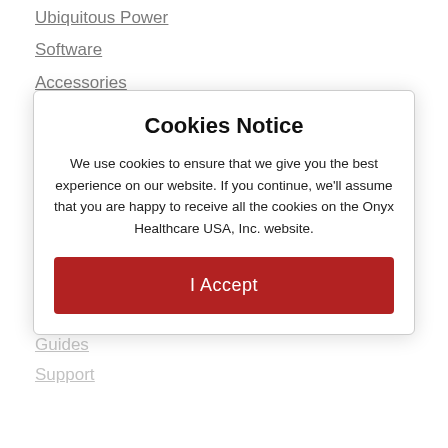Ubiquitous Power
Software
Accessories
Carts
Solutions for Hospital
Telemedicine
Mobile Nursing
Point of Care
Our Services
Services
Guides
Support
Cookies Notice
We use cookies to ensure that we give you the best experience on our website. If you continue, we'll assume that you are happy to receive all the cookies on the Onyx Healthcare USA, Inc. website.
I Accept